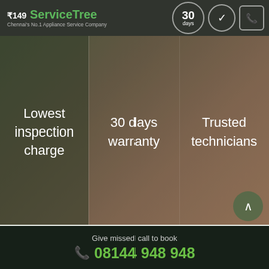[Figure (screenshot): ServiceTree logo and header bar with ₹149 price, 30 days circle, checkmark circle, and phone icon box]
[Figure (infographic): Hero banner with three columns: Lowest inspection charge, 30 days warranty, Trusted technicians on a dark overlay background]
Terms
We provide 30 days warranty for service
Best price guarantee
If you are availing the service, no inspection charge, only pay the service charge. Incase not availing the service you have to pay the inspection charge
Service charge = labour charges + spare parts / consumable
Give missed call to book
08144 948 948